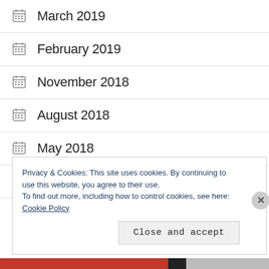March 2019
February 2019
November 2018
August 2018
May 2018
April 2018
March 2018
Privacy & Cookies: This site uses cookies. By continuing to use this website, you agree to their use. To find out more, including how to control cookies, see here: Cookie Policy
Close and accept